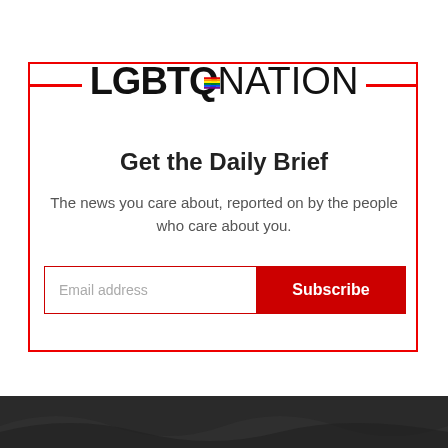[Figure (logo): LGBTQ Nation logo with rainbow flag on the Q letter]
Get the Daily Brief
The news you care about, reported on by the people who care about you.
[Figure (other): Email address input field with red Subscribe button]